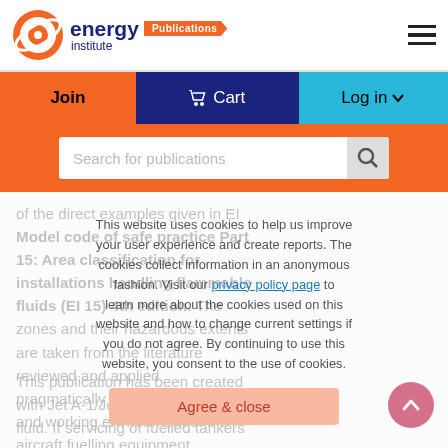energy institute Publications
Join | Cart | Log in
Search for publications
of the direct examples given in EI Model code of safe practice Part 15: Area classification for installations handling flammable fluids (EI 15) 4th edition. The zones and their hazardous extents are taken from the literature reviewed and applied pragmatically to reflect the nature and working environment of the aircraft fuelling equipment.
This website uses cookies to help us improve your user experience and create reports. The cookies collect information in an anonymous fashion. Visit our privacy policy page to learn more about the cookies used on this website and how to change current settings if you do not agree. By continuing to use this website, you consent to the use of cookies.
Agree & close
This publication has been created with Jet A-1/Jet A as the process fluid. If servicing of fuelled tankers